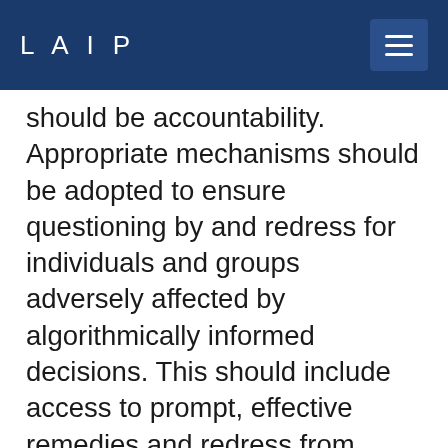LAIP
should be accountability. Appropriate mechanisms should be adopted to ensure questioning by and redress for individuals and groups adversely affected by algorithmically informed decisions. This should include access to prompt, effective remedies and redress from governments and companies that deploy AI technologies for health care. Redress should include compensation, rehabilitation, restitution, sanctions where necessary and a guarantee of non repetition. The use of AI technologies in medicine requires attribution of responsibility within complex systems in which responsibility is distributed among